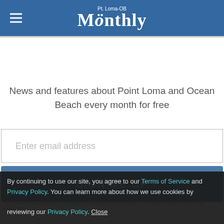Monthly (Point Loma-OB Monthly)
News and features about Point Loma and Ocean Beach every month for free
Enter email address
SIGN ME UP
You may occasionally receive promotional content from the Point Loma-OB Monthly.
By continuing to use our site, you agree to our Terms of Service and Privacy Policy. You can learn more about how we use cookies by reviewing our Privacy Policy. Close